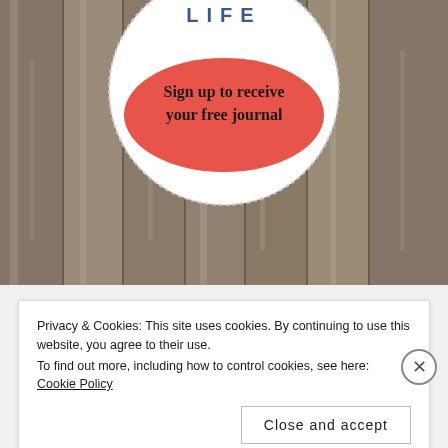[Figure (illustration): Photograph of weathered wooden planks (fence boards) in gray/brown tones serving as background. In the upper center, a white circular badge with dotted border contains the word LIFE in blue spaced letters at the top, and a red/coral oval shape in the center with bold text reading 'Sign up to receive your free journal'.]
Privacy & Cookies: This site uses cookies. By continuing to use this website, you agree to their use. To find out more, including how to control cookies, see here: Cookie Policy
Close and accept